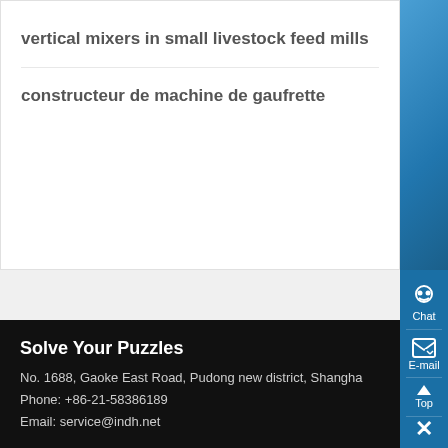vertical mixers in small livestock feed mills
constructeur de machine de gaufrette
[Figure (screenshot): Blue sidebar with Chat and E-mail buttons]
Solve Your Puzzles
No. 1688, Gaoke East Road, Pudong new district, Shanghai
Phone: +86-21-58386189
Email: service@indh.net